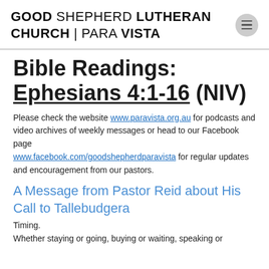GOOD SHEPHERD LUTHERAN CHURCH | PARA VISTA
Bible Readings: Ephesians 4:1-16 (NIV)
Please check the website www.paravista.org.au for podcasts and video archives of weekly messages or head to our Facebook page www.facebook.com/goodshepherdparavista for regular updates and encouragement from our pastors.
A Message from Pastor Reid about His Call to Tallebudgera
Timing.
Whether staying or going, buying or waiting, speaking or